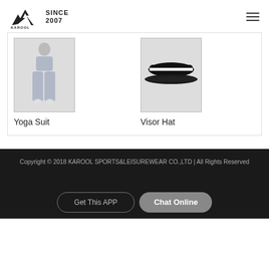KAROOL SINCE 2007
[Figure (photo): Yoga Suit product photo showing a woman in grey yoga leggings and sports bra]
Yoga Suit
[Figure (photo): Visor Hat product photo showing a black sun visor hat]
Visor Hat
Copyright © 2018 KAROOL SPORTS&LEISUREWEAR CO.,LTD | All Rights Reserved
Get This APP
Chat Online